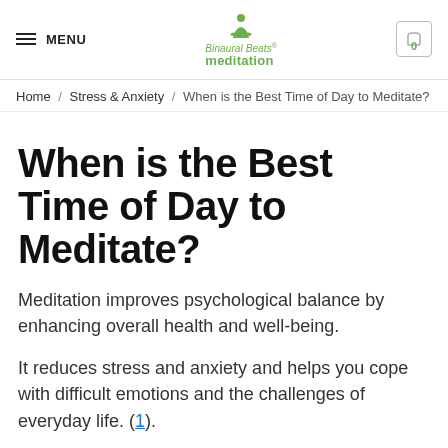MENU | Binaural Beats meditation | 0
Home / Stress & Anxiety / When is the Best Time of Day to Meditate?
When is the Best Time of Day to Meditate?
Meditation improves psychological balance by enhancing overall health and well-being.
It reduces stress and anxiety and helps you cope with difficult emotions and the challenges of everyday life. (1).